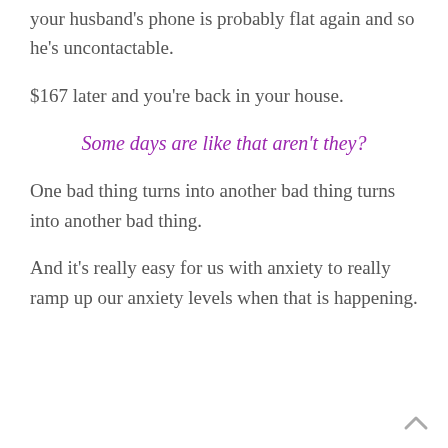your husband's phone is probably flat again and so he's uncontactable.
$167 later and you're back in your house.
Some days are like that aren't they?
One bad thing turns into another bad thing turns into another bad thing.
And it's really easy for us with anxiety to really ramp up our anxiety levels when that is happening.